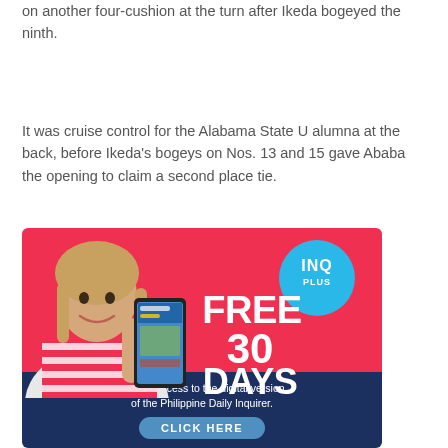on another four-cushion at the turn after Ikeda bogeyed the ninth.
It was cruise control for the Alabama State U alumna at the back, before Ikeda's bogeys on Nos. 13 and 15 gave Ababa the opening to claim a second place tie.
[Figure (illustration): INQ Plus advertisement: woman in red-striped shirt holding smartphone, text reads FREE 30 DAYS, Get full access to the digital version of the Philippine Daily Inquirer. CLICK HERE button.]